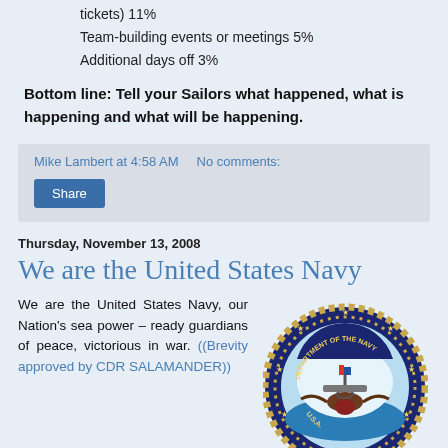tickets) 11%
Team-building events or meetings 5%
Additional days off 3%
Bottom line: Tell your Sailors what happened, what is happening and what will be happening.
Mike Lambert at 4:58 AM   No comments:
Share
Thursday, November 13, 2008
We are the United States Navy
We are the United States Navy, our Nation's sea power – ready guardians of peace, victorious in war. ((Brevity approved by CDR SALAMANDER))
[Figure (logo): Department of the Navy official seal/emblem showing an eagle, anchor, and ship on a blue circular badge with gold rope border and stars]
We are the United States Navy.
The Navy Ethos